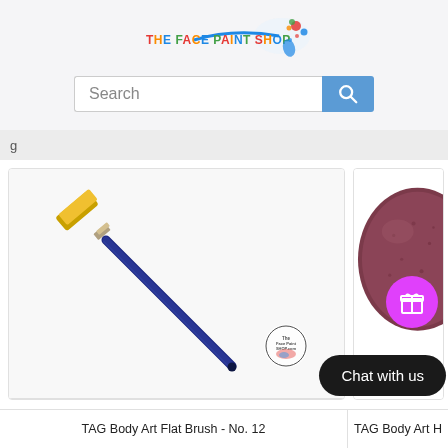[Figure (logo): The Face Paint Shop logo with colorful text and paint splash graphic]
Search
g
[Figure (photo): TAG Body Art Flat Brush No. 12 - a flat paintbrush with golden bristles and dark blue handle, shown diagonally on white background with The Face Paint Shop watermark]
[Figure (photo): TAG Body Art H product - partial view of a dark pink/mauve makeup sponge on white background]
Chat with us
TAG Body Art Flat Brush - No. 12
TAG Body Art H